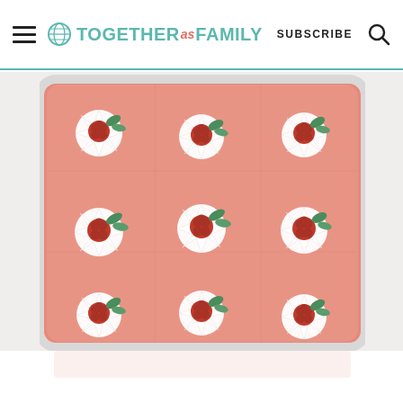TOGETHER as FAMILY | SUBSCRIBE
[Figure (photo): Top-down view of a rectangular baking dish filled with salmon-pink jello/dessert, cut into 9 squares in a 3x3 grid, each square topped with a swirl of white whipped cream, a fresh raspberry, and mint leaves.]